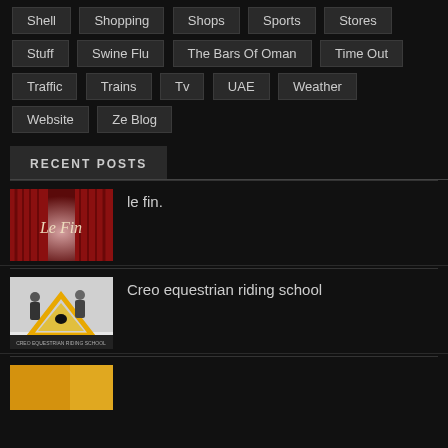Shell
Shopping
Shops
Sports
Stores
Stuff
Swine Flu
The Bars Of Oman
Time Out
Traffic
Trains
Tv
UAE
Weather
Website
Ze Blog
RECENT POSTS
[Figure (photo): Le Fin - red theatre curtains with script text 'Le Fin']
le fin.
[Figure (photo): Creo equestrian riding school - promotional image with triangle logo and children on horses]
Creo equestrian riding school
[Figure (photo): Field trips partial thumbnail - yellow/orange background]